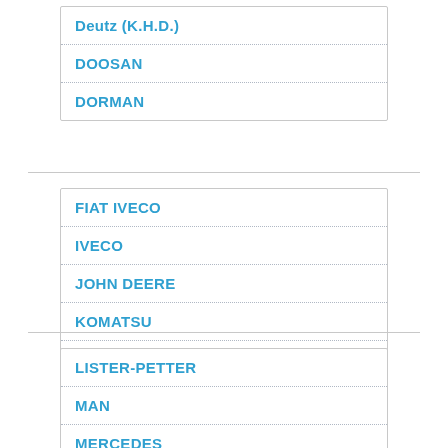Deutz (K.H.D.)
DOOSAN
DORMAN
FIAT IVECO
IVECO
JOHN DEERE
KOMATSU
LIEBHERR
LISTER-PETTER
MAN
MERCEDES